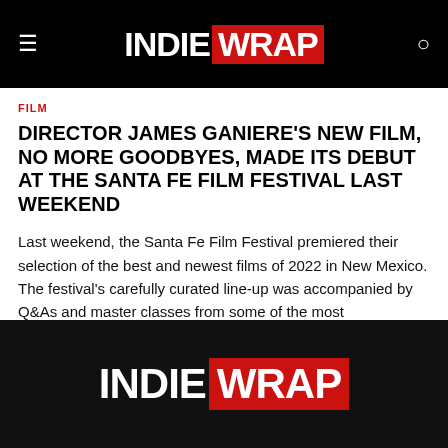INDIE WRAP
FILM
DIRECTOR JAMES GANIERE'S NEW FILM, NO MORE GOODBYES, MADE ITS DEBUT AT THE SANTA FE FILM FESTIVAL LAST WEEKEND
Last weekend, the Santa Fe Film Festival premiered their selection of the best and newest films of 2022 in New Mexico. The festival's carefully curated line-up was accompanied by Q&As and master classes from some of the most distinguished filmmakers in the world.
INDIE WRAP